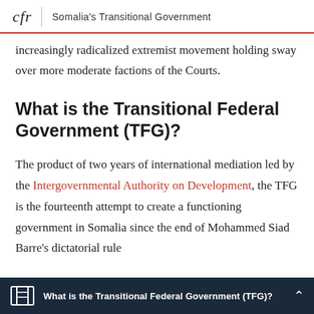cfr | Somalia's Transitional Government
increasingly radicalized extremist movement holding sway over more moderate factions of the Courts.
What is the Transitional Federal Government (TFG)?
The product of two years of international mediation led by the Intergovernmental Authority on Development, the TFG is the fourteenth attempt to create a functioning government in Somalia since the end of Mohammed Siad Barre's dictatorial rule
What is the Transitional Federal Government (TFG)?